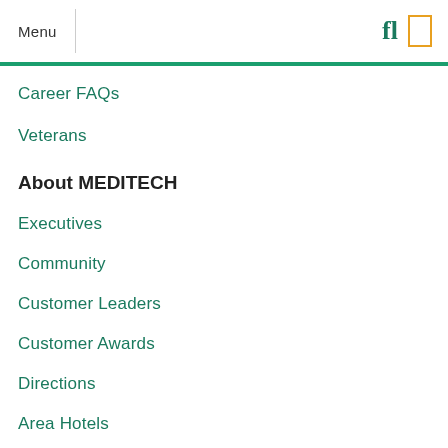Menu
Career FAQs
Veterans
About MEDITECH
Executives
Community
Customer Leaders
Customer Awards
Directions
Area Hotels